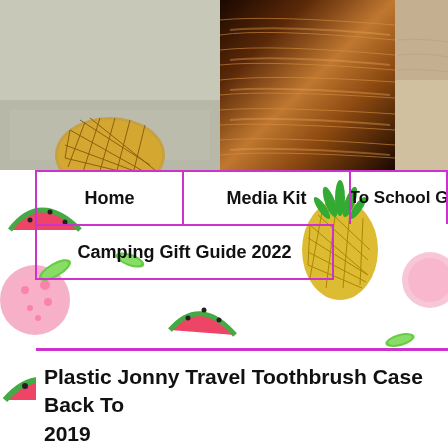[Figure (photo): Top photo strip showing a pineapple on sand (left), dark wood grain texture with golden light (center), and sandy/watery texture (right)]
[Figure (illustration): Colorful fruit pattern background with watermelons, pineapples, and tropical fruits on white background]
Home | Media Kit | Back To School Gift Gu... | Camping Gift Guide 2022
[Figure (illustration): Social media icons: Facebook (blue circle with f), Instagram (brown circle with camera), Pinterest (red circle with P), Twitter (teal circle with bird), YouTube (red circle with YT logo)]
Plastic Jonny Travel Toothbrush Case Back To... 2019